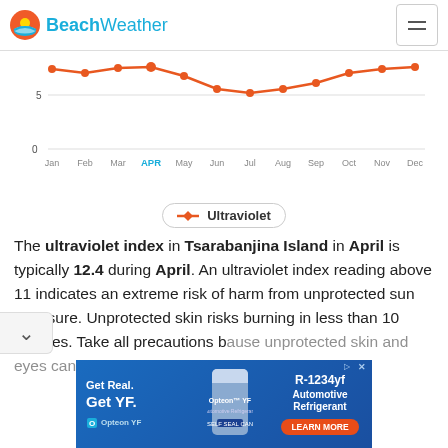BeachWeather
[Figure (line-chart): Ultraviolet Index - Tsarabanjina Island]
The ultraviolet index in Tsarabanjina Island in April is typically 12.4 during April. An ultraviolet index reading above 11 indicates an extreme risk of harm from unprotected sun exposure. Unprotected skin risks burning in less than 10 minutes. Take all precautions because unprotected skin and eyes can burn in minutes.
[Figure (other): Advertisement for Opteon YF R-1234yf Automotive Refrigerant with Get Real. Get YF. tagline and Learn More button]